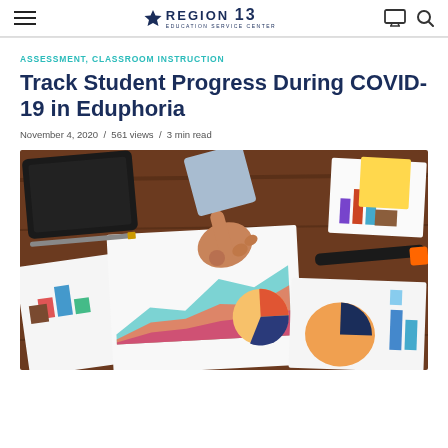REGION 13 EDUCATION SERVICE CENTER — navigation header with hamburger menu, logo, monitor icon, search icon
ASSESSMENT, CLASSROOM INSTRUCTION
Track Student Progress During COVID-19 in Eduphoria
November 4, 2020 / 561 views / 3 min read
[Figure (photo): Overhead view of a person's hand pointing at colorful charts and graphs spread on a wooden desk, with a tablet, pen, and highlighter also visible.]